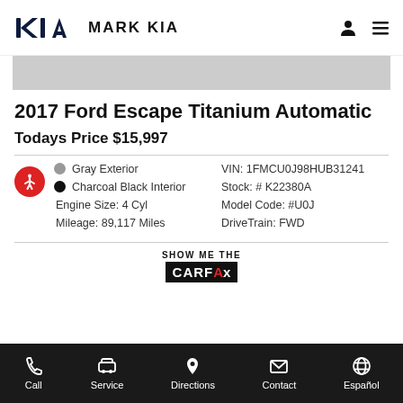KIA MARK KIA
[Figure (photo): Gray vehicle image banner]
2017 Ford Escape Titanium Automatic
Todays Price $15,997
Gray Exterior | Charcoal Black Interior | Engine Size: 4 Cyl | Mileage: 89,117 Miles | VIN: 1FMCU0J98HUB31241 | Stock: # K22380A | Model Code: #U0J | DriveTrain: FWD
[Figure (logo): Show Me The CARFAX logo]
Call | Service | Directions | Contact | Español